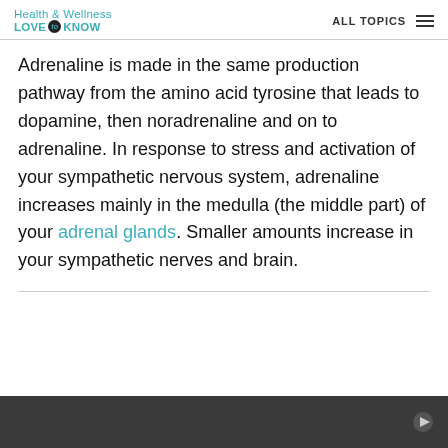Health & Wellness LOVE to KNOW — ALL TOPICS
Adrenaline is made in the same production pathway from the amino acid tyrosine that leads to dopamine, then noradrenaline and on to adrenaline. In response to stress and activation of your sympathetic nervous system, adrenaline increases mainly in the medulla (the middle part) of your adrenal glands. Smaller amounts increase in your sympathetic nerves and brain.